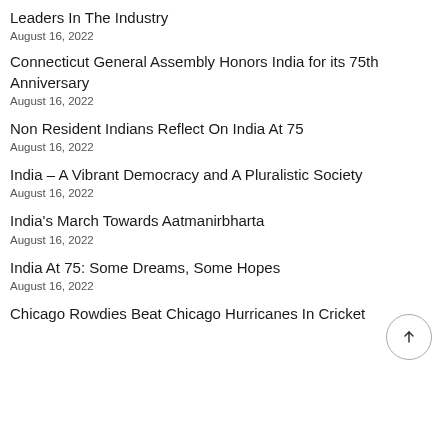Leaders In The Industry
August 16, 2022
Connecticut General Assembly Honors India for its 75th Anniversary
August 16, 2022
Non Resident Indians Reflect On India At 75
August 16, 2022
India – A Vibrant Democracy and A Pluralistic Society
August 16, 2022
India's March Towards Aatmanirbharta
August 16, 2022
India At 75: Some Dreams, Some Hopes
August 16, 2022
Chicago Rowdies Beat Chicago Hurricanes In Cricket